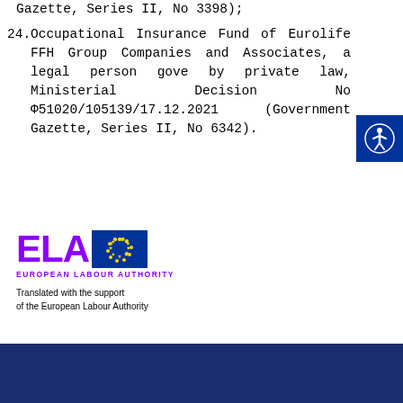Gazette, Series II, No 3398);
24. Occupational Insurance Fund of Eurolife FFH Group Companies and Associates, a legal person governed by private law, Ministerial Decision No Φ51020/105139/17.12.2021 (Government Gazette, Series II, No 6342).
[Figure (logo): ELA European Labour Authority logo with EU flag stars and text: Translated with the support of the European Labour Authority]